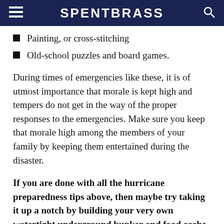SPENTBRASS
Painting, or cross-stitching
Old-school puzzles and board games.
During times of emergencies like these, it is of utmost importance that morale is kept high and tempers do not get in the way of the proper responses to the emergencies. Make sure you keep that morale high among the members of your family by keeping them entertained during the disaster.
If you are done with all the hurricane preparedness tips above, then maybe try taking it up a notch by building your very own watertight underground bunker and food cache. Learn how with this video